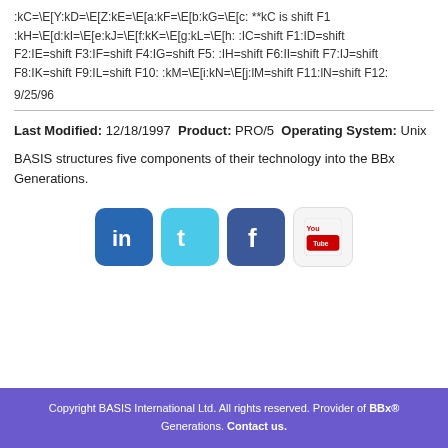:kC=\E[Y:kD=\E[Z:kE=\E[a:kF=\E[b:kG=\E[c: **kC is shift F1:kH=\E[d:kI=\E[e:kJ=\E[f:kK=\E[g:kL=\E[h: :IC=shift F1:ID=shift F2:IE=shift F3:IF=shift F4:IG=shift F5: :IH=shift F6:II=shift F7:IJ=shift F8:IK=shift F9:IL=shift F10: :kM=\E[i:kN=\E[j:lM=shift F11:lN=shift F12:
9/25/96
Last Modified: 12/18/1997 Product: PRO/5 Operating System: Unix
BASIS structures five components of their technology into the BBx Generations.
[Figure (illustration): Four social media icons: LinkedIn (blue), Twitter (light blue), Facebook (dark blue), YouTube (white/red)]
Copyright BASIS International Ltd. All rights reserved. Provider of BBx® Generations. Contact us.